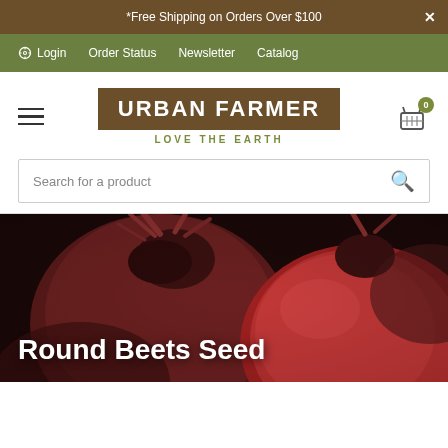*Free Shipping on Orders Over $100
Login  Order Status  Newsletter  Catalog
URBAN FARMER  LOVE THE EARTH
Search for a product
[Figure (photo): Close-up photo of red/purple round beets with a white overlay text reading 'Round Beets Seed']